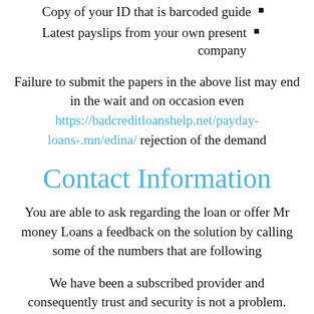Copy of your ID that is barcoded guide
Latest payslips from your own present company
Failure to submit the papers in the above list may end in the wait and on occasion even https://badcreditloanshelp.net/payday-loans-.mn/edina/ rejection of the demand
Contact Information
You are able to ask regarding the loan or offer Mr money Loans a feedback on the solution by calling some of the numbers that are following
We have been a subscribed provider and consequently trust and security is not a problem. Your credit profile is updated after you have paid back the contents that you do not want credit